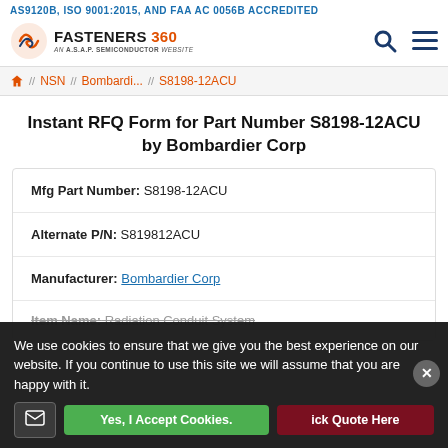AS9120B, ISO 9001:2015, AND FAA AC 0056B ACCREDITED
[Figure (logo): Fasteners 360 logo with ASAP Semiconductor website tagline, search and menu icons]
Home // NSN // Bombar­di... // S8198-12ACU
Instant RFQ Form for Part Number S8198-12ACU by Bombardier Corp
| Mfg Part Number: | S8198-12ACU |
| Alternate P/N: | S819812ACU |
| Manufacturer: | Bombardier Corp |
| Item Name: | Radiation Conduit System |
We use cookies to ensure that we give you the best experience on our website. If you continue to use this site we will assume that you are happy with it.